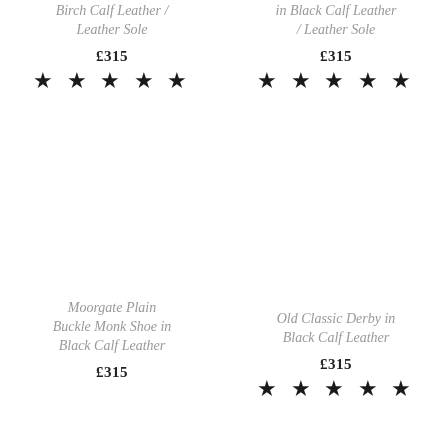Birch Calf Leather / Leather Sole
£315
★ ★ ★ ★ ★
in Black Calf Leather / Leather Sole
£315
★ ★ ★ ★ ★
Moorgate Plain Buckle Monk Shoe in Black Calf Leather
£315
Old Classic Derby in Black Calf Leather
£315
★ ★ ★ ★ ★